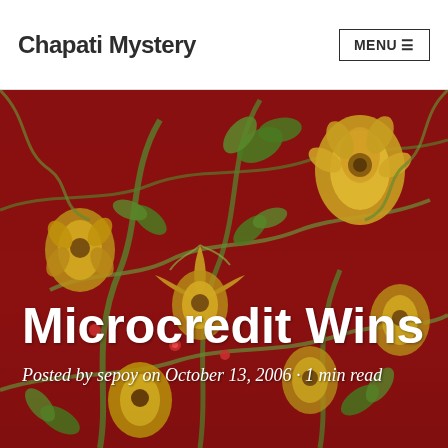Chapati Mystery  MENU
[Figure (photo): Decorative red carpet or textile with floral and vine patterns in gold/yellow and green on a deep crimson background]
Microcredit Wins
Posted by sepoy on October 13, 2006 · 1 min read